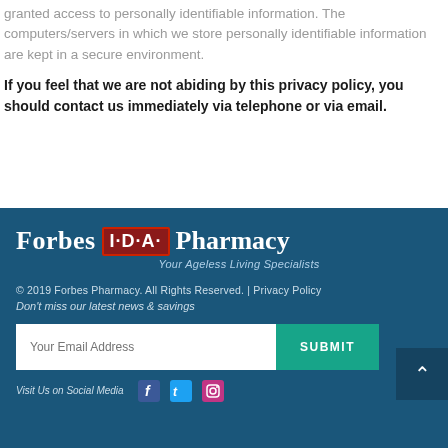granted access to personally identifiable information. The computers/servers in which we store personally identifiable information are kept in a secure environment.
If you feel that we are not abiding by this privacy policy, you should contact us immediately via telephone or via email.
[Figure (logo): Forbes I·D·A· Pharmacy logo with tagline 'Your Ageless Living Specialists' on dark blue background]
© 2019 Forbes Pharmacy. All Rights Reserved. | Privacy Policy
Don't miss our latest news & savings
Your Email Address [SUBMIT]
Visit Us on Social Media [Facebook] [Twitter] [Instagram]